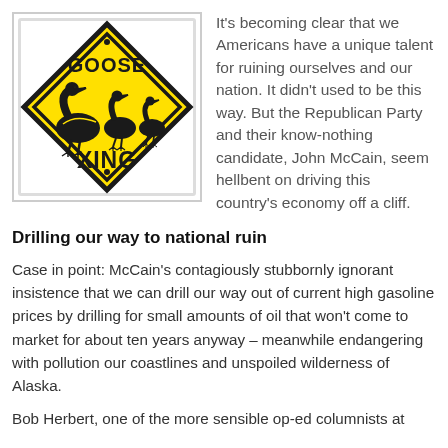[Figure (photo): Yellow diamond-shaped Goose Xing crossing sign with geese silhouettes, bordered in black, against white background with a gray border frame]
It's becoming clear that we Americans have a unique talent for ruining ourselves and our nation. It didn't used to be this way. But the Republican Party and their know-nothing candidate, John McCain, seem hellbent on driving this country's economy off a cliff.
Drilling our way to national ruin
Case in point: McCain's contagiously stubbornly ignorant insistence that we can drill our way out of current high gasoline prices by drilling for small amounts of oil that won't come to market for about ten years anyway – meanwhile endangering with pollution our coastlines and unspoiled wilderness of Alaska.
Bob Herbert, one of the more sensible op-ed columnists at